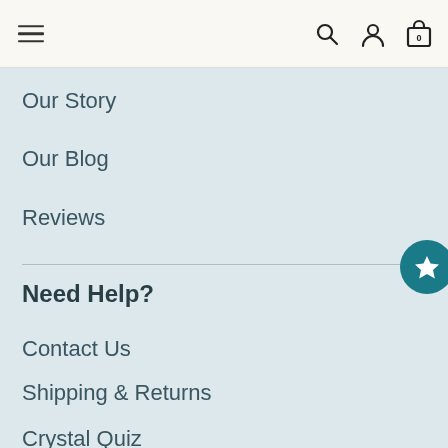Navigation header with hamburger menu, search, account, and bag icons
Our Story
Our Blog
Reviews
Need Help?
Contact Us
Shipping & Returns
Crystal Quiz
USD currency selector, social media icons (Twitter, Facebook, Instagram, Pinterest, TikTok), chat toggle button